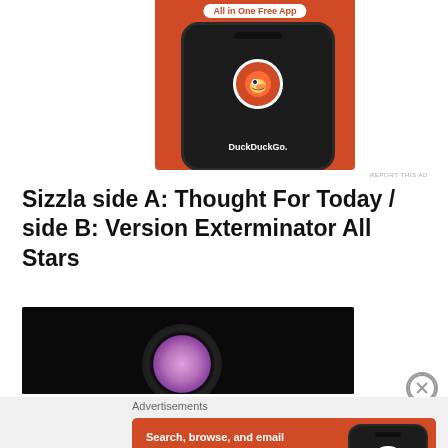[Figure (screenshot): DuckDuckGo app advertisement banner at top showing phone with DuckDuckGo logo and 'All in One Free App' button on orange background]
REPORT THIS AD
Sizzla side A: Thought For Today / side B: Version Exterminator All Stars
[Figure (photo): Partial view of a vinyl record with dark background and purple label visible]
Advertisements
[Figure (screenshot): DuckDuckGo app advertisement showing 'Search, browse, and email with more privacy. All in One Free App' on orange background with phone mockup]